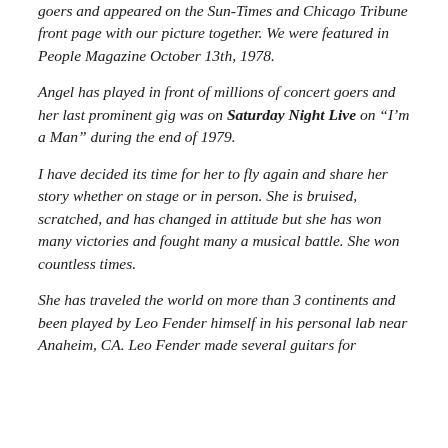goers and appeared on the Sun-Times and Chicago Tribune front page with our picture together. We were featured in People Magazine October 13th, 1978.
Angel has played in front of millions of concert goers and her last prominent gig was on Saturday Night Live on “I’m a Man” during the end of 1979.
I have decided its time for her to fly again and share her story whether on stage or in person. She is bruised, scratched, and has changed in attitude but she has won many victories and fought many a musical battle. She won countless times.
She has traveled the world on more than 3 continents and been played by Leo Fender himself in his personal lab near Anaheim, CA. Leo Fender made several guitars for